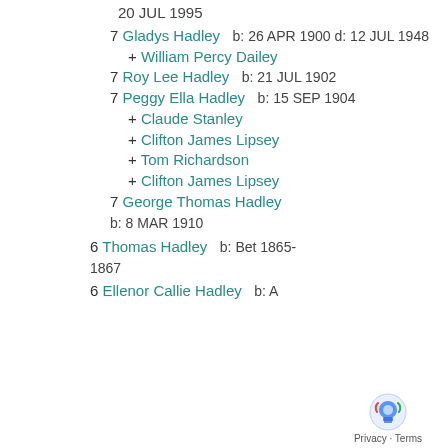20 JUL 1995
7 Gladys Hadley  b: 26 APR 1900 d: 12 JUL 1948
+ William Percy Dailey
7 Roy Lee Hadley  b: 21 JUL 1902
7 Peggy Ella Hadley  b: 15 SEP 1904
+ Claude Stanley
+ Clifton James Lipsey
+ Tom Richardson
+ Clifton James Lipsey
7 George Thomas Hadley  b: 8 MAR 1910
6 Thomas Hadley  b: Bet 1865-1867
6 Ellenor Callie Hadley  b: A...